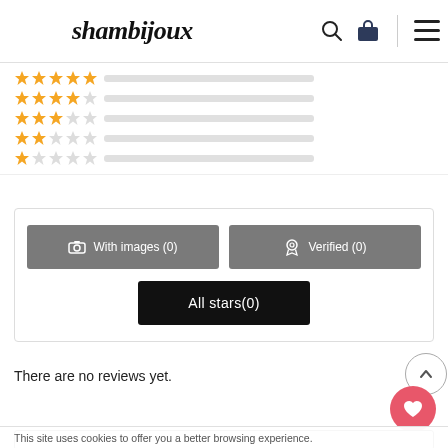shambijoux
Reviews
[Figure (other): Star rating rows with progress bars: 5-star row (full, yellow), 4-star row (yellow), 3-star row (3/5 yellow), 2-star row (2/5 yellow), 1-star row (1/5 yellow), each with a grey progress bar]
[Figure (other): Filter buttons: 'With images (0)' grey button, 'Verified (0)' grey button, 'All stars(0)' black button, and a circular scroll-to-top arrow button]
There are no reviews yet.
This site uses cookies to offer you a better browsing experience.